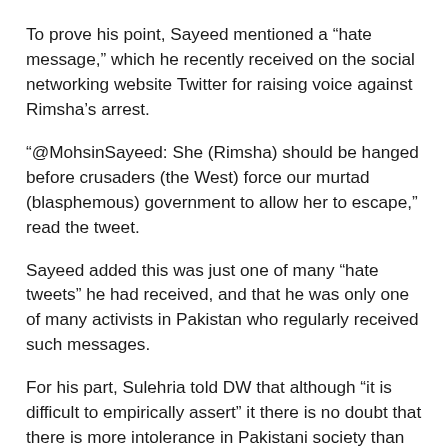To prove his point, Sayeed mentioned a “hate message,” which he recently received on the social networking website Twitter for raising voice against Rimsha’s arrest.
“@MohsinSayeed: She (Rimsha) should be hanged before crusaders (the West) force our murtad (blasphemous) government to allow her to escape,” read the tweet.
Sayeed added this was just one of many “hate tweets” he had received, and that he was only one of many activists in Pakistan who regularly received such messages.
For his part, Sulehria told DW that although “it is difficult to empirically assert” it there is no doubt that there is more intolerance in Pakistani society than before.
Author: Shamil Shams